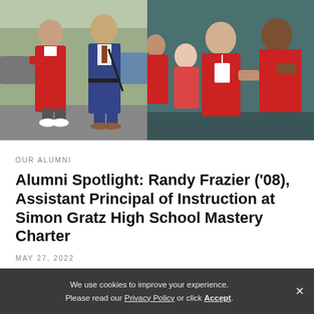[Figure (photo): Two photos side by side: left photo shows a person in a red graduation gown posing with a person in a blue suit outdoors; right photo shows three people including two in red jackets/gowns posing together indoors.]
OUR ALUMNI
Alumni Spotlight: Randy Frazier ('08), Assistant Principal of Instruction at Simon Gratz High School Mastery Charter
MAY 27, 2022
We use cookies to improve your experience. Please read our Privacy Policy or click Accept.